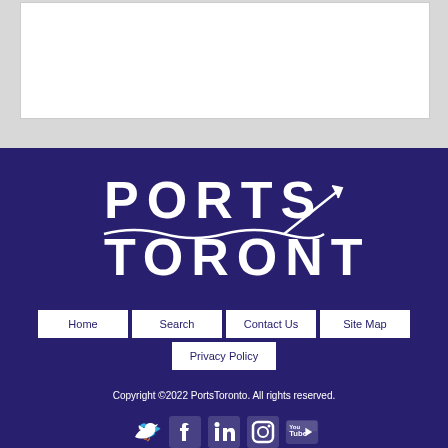[Figure (logo): Ports Toronto logo with wave graphic and upward arrow, white text on dark navy background]
Home
Search
Contact Us
Site Map
Privacy Policy
Copyright ©2022 PortsToronto. All rights reserved.
[Figure (infographic): Social media icons: Twitter, Facebook, LinkedIn, Instagram, YouTube]